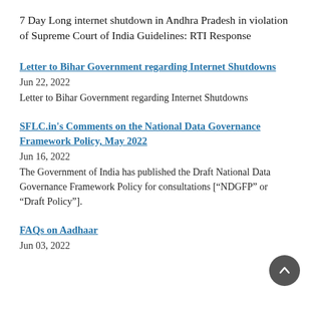7 Day Long internet shutdown in Andhra Pradesh in violation of Supreme Court of India Guidelines: RTI Response
Letter to Bihar Government regarding Internet Shutdowns
Jun 22, 2022
Letter to Bihar Government regarding Internet Shutdowns
SFLC.in's Comments on the National Data Governance Framework Policy, May 2022
Jun 16, 2022
The Government of India has published the Draft National Data Governance Framework Policy for consultations [“NDGFP” or “Draft Policy”].
FAQs on Aadhaar
Jun 03, 2022